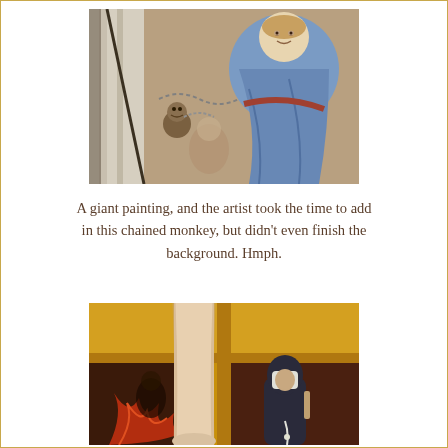[Figure (photo): Detail of a Renaissance painting showing a chained monkey and a woman or angel in blue ornate clothing near marble columns, with other figures in the background.]
A giant painting, and the artist took the time to add in this chained monkey, but didn't even finish the background. Hmph.
[Figure (photo): Detail of a medieval or Renaissance painting showing bare legs of a figure, a dark robed monk or friar holding something, against a gold and dark red/flame-like background.]